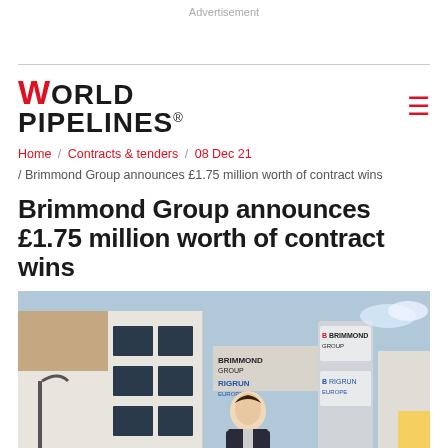Advertisement
WORLD PIPELINES
Home / Contracts & tenders / 08 Dec 21 / Brimmond Group announces £1.75 million worth of contract wins
Brimmond Group announces £1.75 million worth of contract wins
[Figure (photo): Man in suit standing in front of Brimmond Group and Rigrun Europe office building with signage pillar]